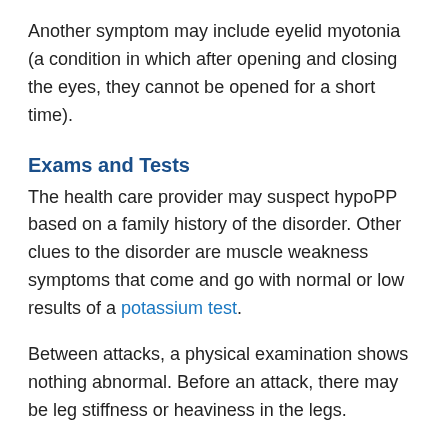Another symptom may include eyelid myotonia (a condition in which after opening and closing the eyes, they cannot be opened for a short time).
Exams and Tests
The health care provider may suspect hypoPP based on a family history of the disorder. Other clues to the disorder are muscle weakness symptoms that come and go with normal or low results of a potassium test.
Between attacks, a physical examination shows nothing abnormal. Before an attack, there may be leg stiffness or heaviness in the legs.
During an attack of muscle weakness, blood potassium level is low. This confirms the diagnosis. There is no decrease in total body potassium. Blood potassium level